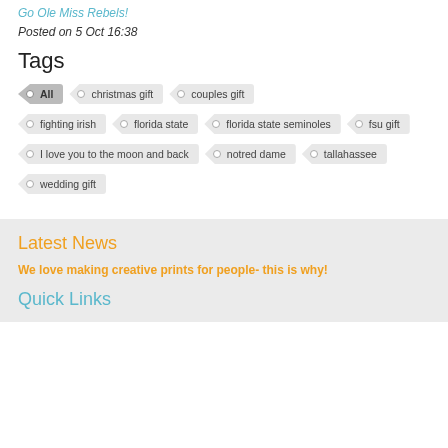Go Ole Miss Rebels!
Posted on 5 Oct 16:38
Tags
All
christmas gift
couples gift
fighting irish
florida state
florida state seminoles
fsu gift
I love you to the moon and back
notred dame
tallahassee
wedding gift
Latest News
We love making creative prints for people- this is why!
Quick Links